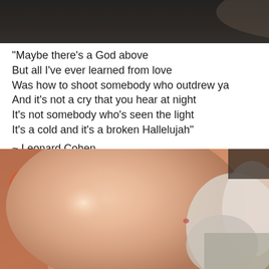[Figure (photo): Dark blurred photo strip at the top of the page]
“Maybe there’s a God above
But all I’ve ever learned from love
Was how to shoot somebody who outdrew ya
And it’s not a cry that you hear at night
It’s not somebody who’s seen the light
It’s a cold and it’s a broken Hallelujah”
~ Leonard Cohen
[Figure (photo): Close-up blurred photo of an elderly person's bald head with white hair on the sides, warm skin tones]